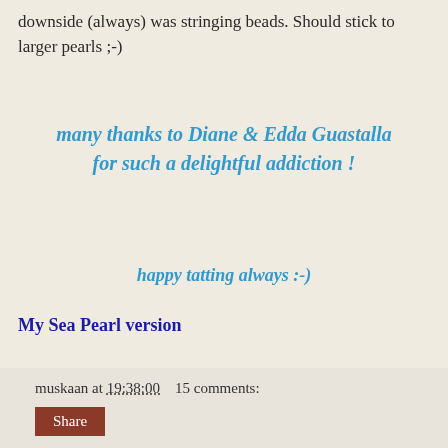downside (always) was stringing beads. Should stick to larger pearls ;-)
many thanks to Diane & Edda Guastalla for such a delightful addiction !

happy tatting always :-)
My Sea Pearl version
muskaan at 19:38:00    15 comments:
Share
Monday, 19 December 2016
an undesired switcheroo